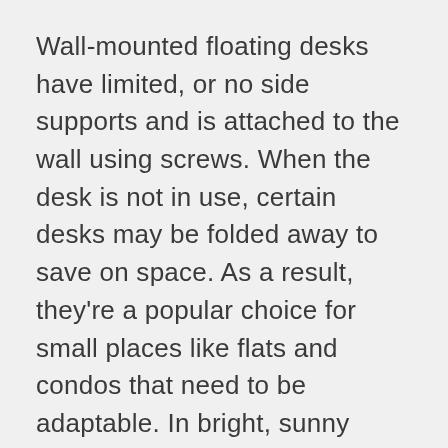Wall-mounted floating desks have limited, or no side supports and is attached to the wall using screws. When the desk is not in use, certain desks may be folded away to save on space. As a result, they're a popular choice for small places like flats and condos that need to be adaptable. In bright, sunny rooms where a huge desk would make the room appear smaller, they give modern, minimalist beauty.
Due to their specific design requirements, they can be found in a variety of colors and faux wood treatments, although manufactured wood or lightweight woods like pine are the most often used materials. In general, heavy